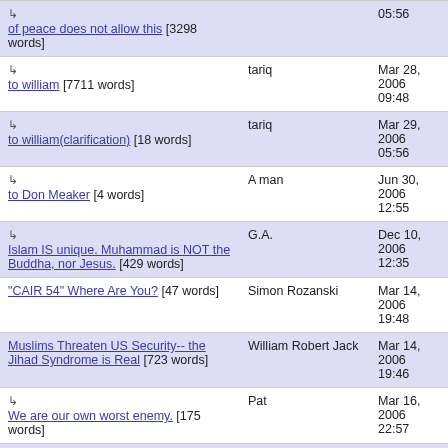| Title | Author | Date |
| --- | --- | --- |
| ↳ of peace does not allow this [3298 words] |  | 05:56 |
| ↳ to william [7711 words] | tariq | Mar 28, 2006 09:48 |
| ↳ to william(clarification) [18 words] | tariq | Mar 29, 2006 05:56 |
| ↳ to Don Meaker [4 words] | A man | Jun 30, 2006 12:55 |
| ↳ Islam IS unique. Muhammad is NOT the Buddha, nor Jesus. [429 words] | G.A. | Dec 10, 2006 12:35 |
| "CAIR 54" Where Are You? [47 words] | Simon Rozanski | Mar 14, 2006 19:48 |
| Muslims Threaten US Security-- the Jihad Syndrome is Real [723 words] | William Robert Jack | Mar 14, 2006 19:46 |
| ↳ We are our own worst enemy. [175 words] | Pat | Mar 16, 2006 22:57 |
| ↳ Solid Comments [15 words] | William RoberT Jack | Mar 20, 2006 |